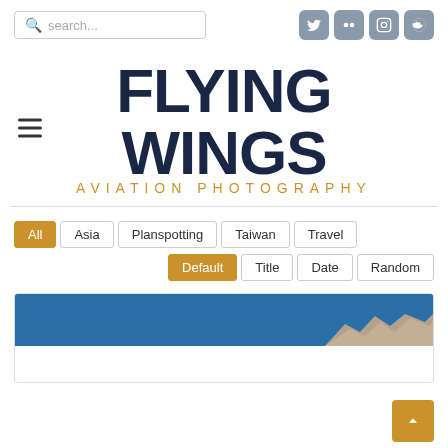[Figure (screenshot): Search box with placeholder text 'search...' and a magnifying glass icon]
[Figure (screenshot): Social media icons: Twitter, Flickr, Instagram, Reddit in grey rounded squares]
[Figure (logo): Flying Wings Aviation Photography logo. Main text 'FLYING WINGS' in large dark navy bold font, subtitle 'AVIATION PHOTOGRAPHY' in gold/amber spaced capitals. Hamburger menu icon on the left.]
All  Asia  Planspotting  Taiwan  Travel
Default  Title  Date  Random
[Figure (photo): Partial view of an aviation photograph showing blue sky and the top of what appears to be a rocky or mountainous terrain, likely part of an aircraft or landscape at an airport.]